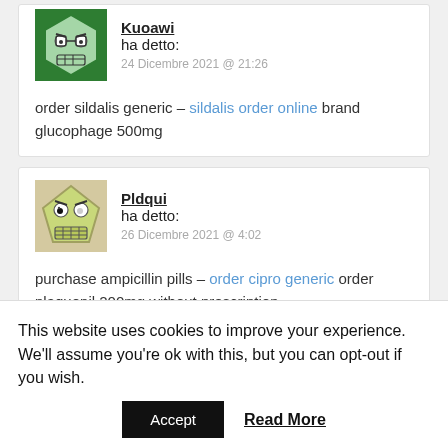[Figure (illustration): Avatar icon of user Kuoawi — angry face on hexagon shape, green background]
Kuoawi ha detto:
24 Dicembre 2021 @ 21:26
order sildalis generic – sildalis order online brand glucophage 500mg
[Figure (illustration): Avatar icon of user Pldqui — grimacing cartoon face on pentagon shape, green tones]
Pldqui ha detto:
26 Dicembre 2021 @ 4:02
purchase ampicillin pills – order cipro generic order plaquenil 200mg without prescription
This website uses cookies to improve your experience. We'll assume you're ok with this, but you can opt-out if you wish.